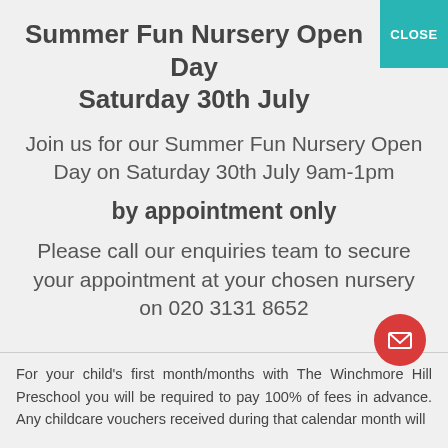Summer Fun Nursery Open Day Saturday 30th July
Join us for our Summer Fun Nursery Open Day on Saturday 30th July 9am-1pm
by appointment only
Please call our enquiries team to secure your appointment at your chosen nursery on 020 3131 8652
For your child's first month/months with The Winchmore Hill Preschool you will be required to pay 100% of fees in advance. Any childcare vouchers received during that calendar month will